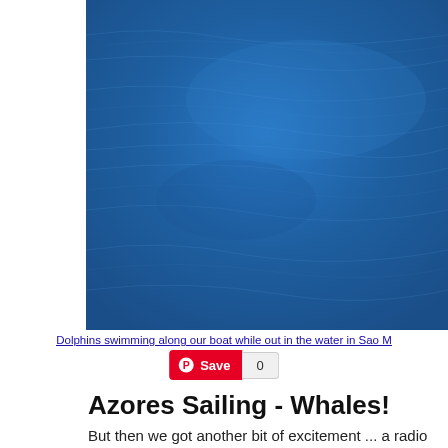[Figure (photo): Blue ocean water surface, taken from a boat, with ripples and wave texture visible. Deep blue color throughout.]
Dolphins swimming along our boat while out in the water in Sao M
Save 0
Azores Sailing - Whales!
But then we got another bit of excitement ... a radio call came in from o watching towers. There were several whales just a couple miles out. Ou